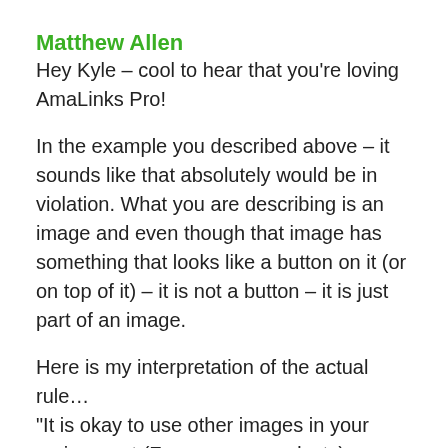Matthew Allen
Hey Kyle – cool to hear that you're loving AmaLinks Pro!
In the example you described above – it sounds like that absolutely would be in violation. What you are describing is an image and even though that image has something that looks like a button on it (or on top of it) – it is not a button – it is just part of an image.
Here is my interpretation of the actual rule… "It is okay to use other images in your review post (For amazon products) as long as…